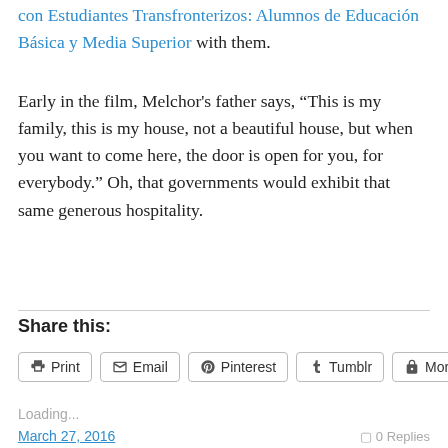con Estudiantes Transfronterizos: Alumnos de Educación Básica y Media Superior with them.
Early in the film, Melchor's father says, “This is my family, this is my house, not a beautiful house, but when you want to come here, the door is open for you, for everybody.” Oh, that governments would exhibit that same generous hospitality.
Share this:
Print
Email
Pinterest
Tumblr
More
Loading...
March 27, 2016